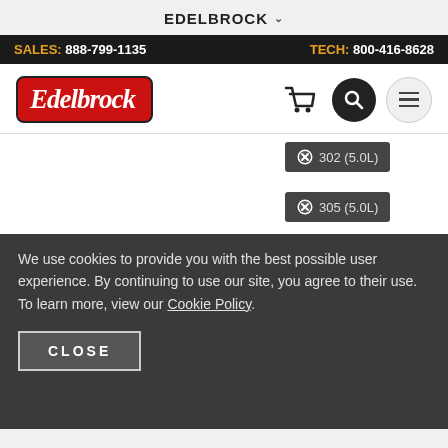EDELBROCK
SALES: 888-799-1135   TECH: 800-416-8628
[Figure (logo): Edelbrock logo - red rounded rectangle with white italic script text]
302 (5.0L)
305 (5.0L)
350 (5.7L)
Small-Block
Gen II V8
RB Engine
Black
Powder Coated Black
$0.00 - $10,000.00
We use cookies to provide you with the best possible user experience. By continuing to use our site, you agree to their use. To learn more, view our Cookie Policy.
CLOSE